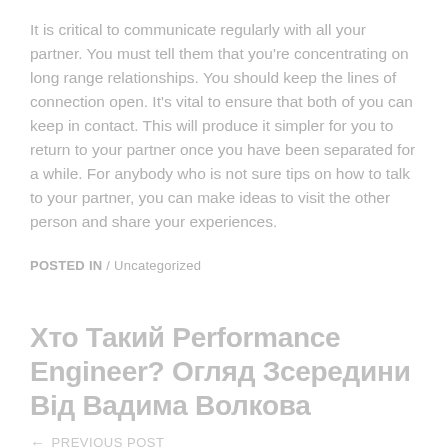It is critical to communicate regularly with all your partner. You must tell them that you're concentrating on long range relationships. You should keep the lines of connection open. It's vital to ensure that both of you can keep in contact. This will produce it simpler for you to return to your partner once you have been separated for a while. For anybody who is not sure tips on how to talk to your partner, you can make ideas to visit the other person and share your experiences.
POSTED IN / Uncategorized
Хто Такий Performance Engineer? Огляд Зсередини Від Вадима Волкова
← PREVIOUS POST
/ Advantages of a Online Relationship